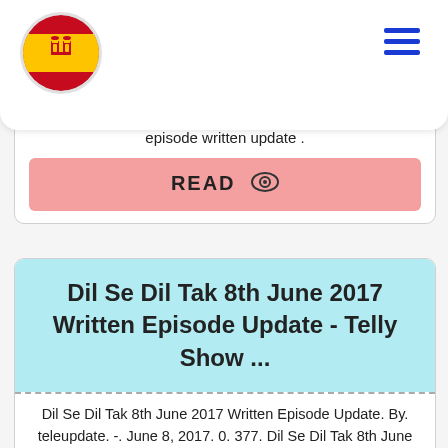Spain flag logo and hamburger menu
episode written update .
READ
Dil Se Dil Tak 8th June 2017 Written Episode Update - Telly Show ...
Dil Se Dil Tak 8th June 2017 Written Episode Update. By. teleupdate. -. June 8, 2017. 0. 377. Dil Se Dil Tak 8th June 2017 Written Episode Update on ...
READ